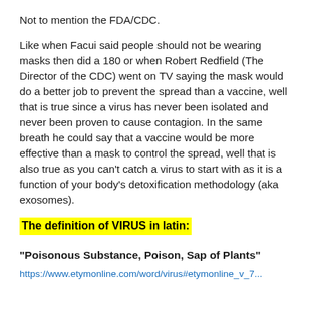Not to mention the FDA/CDC.
Like when Facui said people should not be wearing masks then did a 180 or when Robert Redfield (The Director of the CDC) went on TV saying the mask would do a better job to prevent the spread than a vaccine, well that is true since a virus has never been isolated and never been proven to cause contagion. In the same breath he could say that a vaccine would be more effective than a mask to control the spread, well that is also true as you can't catch a virus to start with as it is a function of your body's detoxification methodology (aka exosomes).
The definition of VIRUS in latin:
“Poisonous Substance, Poison, Sap of Plants”
https://www.etymonline.com/word/virus#etymonline_v_7...